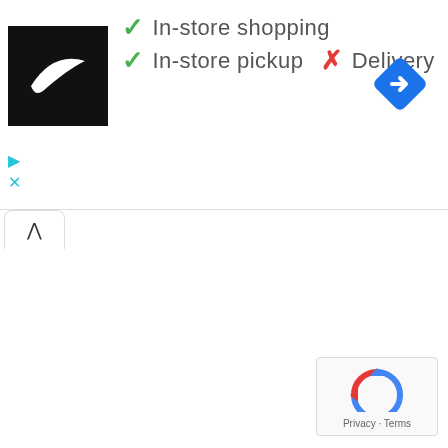[Figure (logo): Nike swoosh logo on black background]
✓ In-store shopping
✓ In-store pickup  ✗ Delivery
[Figure (illustration): Blue diamond navigation/directions icon]
[Figure (illustration): Cyan ad play and close icons]
[Figure (screenshot): Tab bar with up-arrow (collapse) button]
[Figure (illustration): reCAPTCHA widget with Privacy and Terms text]